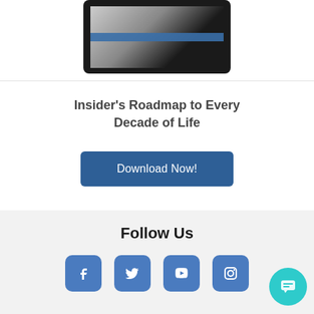[Figure (illustration): Tablet device showing a person in black and white with a blue stripe across the screen]
Insider's Roadmap to Every Decade of Life
Download Now!
Follow Us
[Figure (other): Social media icons for Facebook, Twitter, YouTube, and Instagram in blue rounded square buttons, plus a teal chat bubble button]